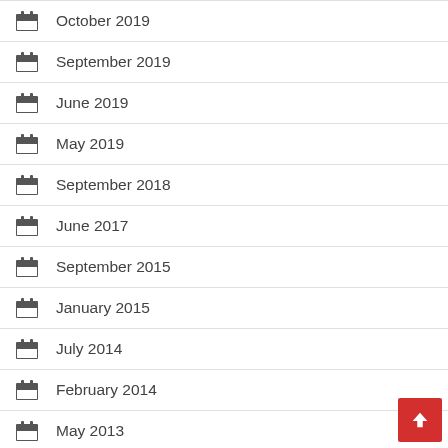October 2019
September 2019
June 2019
May 2019
September 2018
June 2017
September 2015
January 2015
July 2014
February 2014
May 2013
April 2013
November 2010